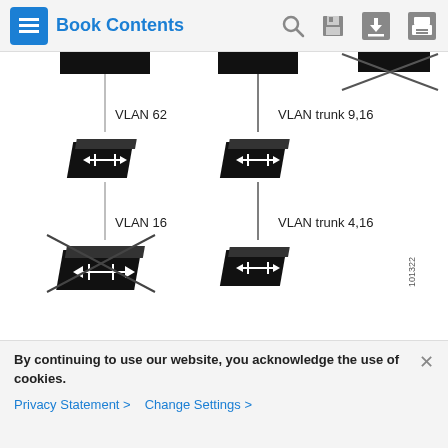Book Contents
[Figure (network-graph): Network diagram showing switches connected by VLAN links. Top row: two black switch icons connected vertically to middle row switches via lines labeled 'VLAN 62' and 'VLAN trunk 9,16'. A third top switch has a diagonal cross mark. Middle row: two switches connected to bottom row switches via lines labeled 'VLAN 16' and 'VLAN trunk 4,16'. Bottom-left switch has diagonal cross mark indicating disabled/failed. Figure ID: 101322.]
Discovery Through Different Management VLANs
Catalyst 2960, Catalyst 2970, Catalyst 3550, Catalyst 3560, Catalyst 3560-E, Catalyst 3750, Catalyst 3750-E, Catalyst
By continuing to use our website, you acknowledge the use of cookies.
Privacy Statement > Change Settings >